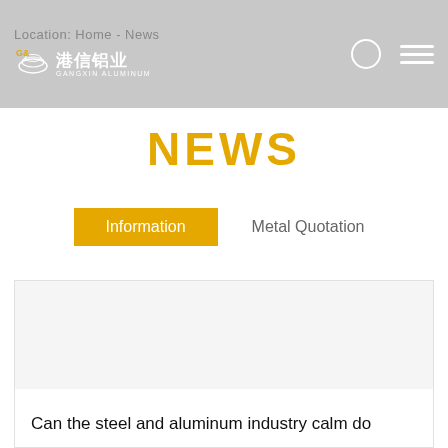Location: Home - News | 港信铝业 GANGXIN ALUMINUM
NEWS
Information | Metal Quotation
[Figure (photo): Article thumbnail image placeholder (white/light gray background)]
Can the steel and aluminum industry calm do